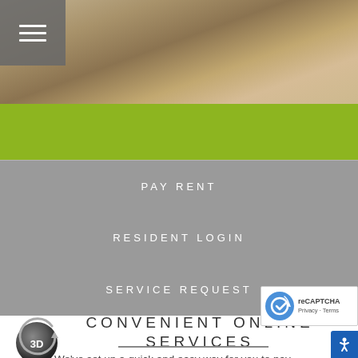[Figure (photo): Photo banner showing a wood surface with blurred objects, with a hamburger menu icon overlay on the left side in a grey box]
[Figure (illustration): Olive/lime green horizontal band]
PAY RENT
RESIDENT LOGIN
SERVICE REQUEST
[Figure (logo): reCAPTCHA badge with logo and Privacy Terms text]
CONVENIENT ONLINE SERVICES
[Figure (illustration): 3D rotating icon - grey circle with 3D label and refresh arrow]
We've set up a quick and easy way for you to pay
[Figure (illustration): Blue accessibility icon button in bottom right corner]